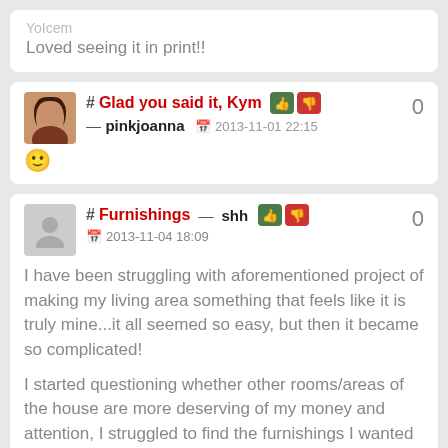Loved seeing it in print!!
# Glad you said it, Kym — pinkjoanna 2013-11-01 22:15 :)
# Furnishings — shh 2013-11-04 18:09
I have been struggling with aforementioned project of making my living area something that feels like it is truly mine...it all seemed so easy, but then it became so complicated!

I started questioning whether other rooms/areas of the house are more deserving of my money and attention, I struggled to find the furnishings I wanted at a price I could afford, I doubted my vision of what it should be